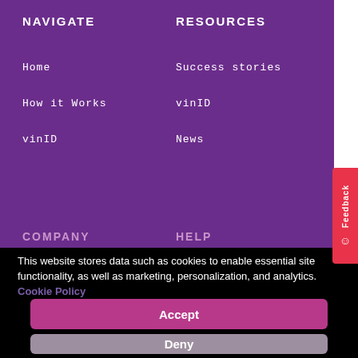NAVIGATE
Home
How it Works
vinID
RESOURCES
Success stories
vinID
News
COMPANY
HELP
This website stores data such as cookies to enable essential site functionality, as well as marketing, personalization, and analytics. Cookie Policy
Accept
Deny